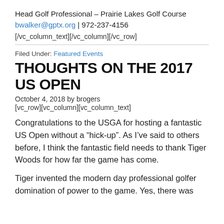Head Golf Professional – Prairie Lakes Golf Course
bwalker@gptx.org | 972-237-4156
[/vc_column_text][/vc_column][/vc_row]
Filed Under: Featured Events
THOUGHTS ON THE 2017 US OPEN
October 4, 2018 by brogers
[vc_row][vc_column][vc_column_text]
Congratulations to the USGA for hosting a fantastic US Open without a “hick-up”. As I’ve said to others before, I think the fantastic field needs to thank Tiger Woods for how far the game has come.
Tiger invented the modern day professional golfer domination of power to the game. Yes, there was